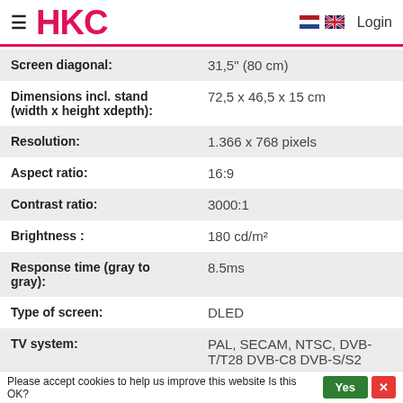HKC — Login
| Specification | Value |
| --- | --- |
| Screen diagonal: | 31,5" (80 cm) |
| Dimensions incl. stand (width x height xdepth): | 72,5 x 46,5 x 15 cm |
| Resolution: | 1.366 x 768 pixels |
| Aspect ratio: | 16:9 |
| Contrast ratio: | 3000:1 |
| Brightness : | 180 cd/m² |
| Response time (gray to gray): | 8.5ms |
| Type of screen: | DLED |
| TV system: | PAL, SECAM, NTSC, DVB-T/T28 DVB-C8 DVB-S/S2 |
Please accept cookies to help us improve this website Is this OK?